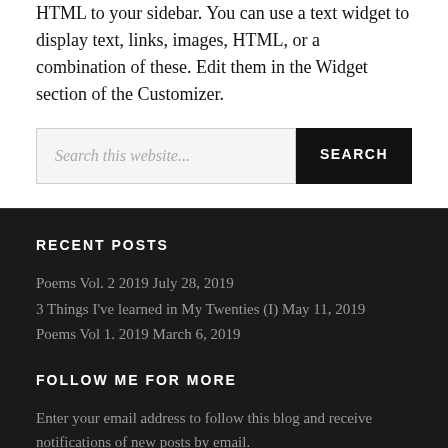HTML to your sidebar. You can use a text widget to display text, links, images, HTML, or a combination of these. Edit them in the Widget section of the Customizer.
Search this website...
RECENT POSTS
Poems Vol. 2 2019 July 28, 2019
3 Things I've learned in My Twenties (I) May 11, 2019
Poems Vol 1. 2019 March 6, 2019
FOLLOW ME FOR MORE
Enter your email address to follow this blog and receive notifications of new posts by email.